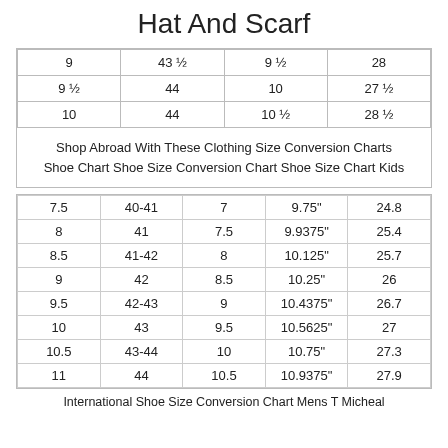Hat And Scarf
| 9 | 43 ½ | 9 ½ | 28 |
| 9 ½ | 44 | 10 | 27 ½ |
| 10 | 44 | 10 ½ | 28 ½ |
Shop Abroad With These Clothing Size Conversion Charts Shoe Chart Shoe Size Conversion Chart Shoe Size Chart Kids
| 7.5 | 40-41 | 7 | 9.75" | 24.8 |
| 8 | 41 | 7.5 | 9.9375" | 25.4 |
| 8.5 | 41-42 | 8 | 10.125" | 25.7 |
| 9 | 42 | 8.5 | 10.25" | 26 |
| 9.5 | 42-43 | 9 | 10.4375" | 26.7 |
| 10 | 43 | 9.5 | 10.5625" | 27 |
| 10.5 | 43-44 | 10 | 10.75" | 27.3 |
| 11 | 44 | 10.5 | 10.9375" | 27.9 |
International Shoe Size Conversion Chart Mens T Micheal